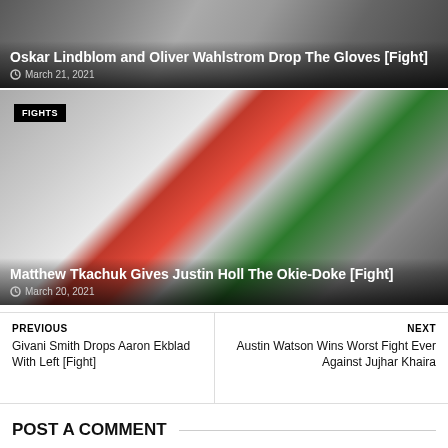[Figure (photo): Hockey fight scene - Oskar Lindblom and Oliver Wahlstrom]
Oskar Lindblom and Oliver Wahlstrom Drop The Gloves [Fight]
March 21, 2021
[Figure (photo): Hockey fight scene - Matthew Tkachuk vs Justin Holl, with FIGHTS badge]
Matthew Tkachuk Gives Justin Holl The Okie-Doke [Fight]
March 20, 2021
PREVIOUS
Givani Smith Drops Aaron Ekblad With Left [Fight]
NEXT
Austin Watson Wins Worst Fight Ever Against Jujhar Khaira
POST A COMMENT